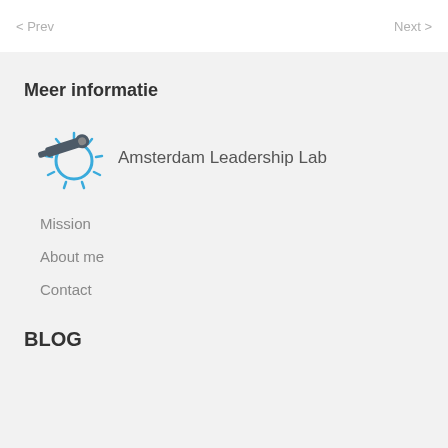< Prev    Next >
Meer informatie
[Figure (logo): Amsterdam Leadership Lab logo: blue spiky circle with telescope/cannon icon and text 'Amsterdam Leadership Lab']
Mission
About me
Contact
BLOG